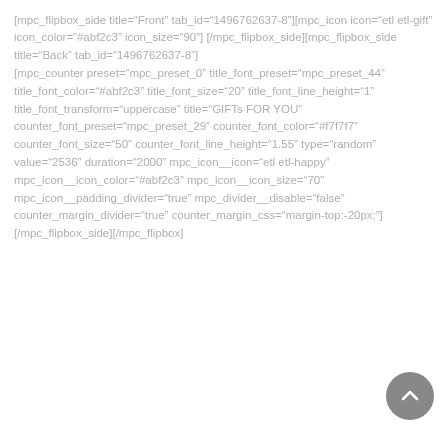[mpc_flipbox_side title="Front" tab_id="1496762637-8"][mpc_icon icon="etl etl-gift" icon_color="#abf2c3" icon_size="90"] [/mpc_flipbox_side][mpc_flipbox_side title="Back" tab_id="1496762637-8"] [mpc_counter preset="mpc_preset_0" title_font_preset="mpc_preset_44" title_font_color="#abf2c3" title_font_size="20" title_font_line_height="1" title_font_transform="uppercase" title="GIFTs FOR YOU" counter_font_preset="mpc_preset_29" counter_font_color="#f7f7f7" counter_font_size="50" counter_font_line_height="1.55" type="random" value="2536" duration="2000" mpc_icon__icon="etl etl-happy" mpc_icon__icon_color="#abf2c3" mpc_icon__icon_size="70" mpc_icon__padding_divider="true" mpc_divider__disable="false" counter_margin_divider="true" counter_margin_css="margin-top:-20px;"] [/mpc_flipbox_side][/mpc_flipbox]